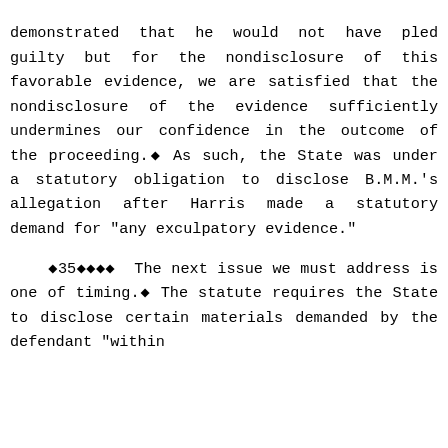demonstrated that he would not have pled guilty but for the nondisclosure of this favorable evidence, we are satisfied that the nondisclosure of the evidence sufficiently undermines our confidence in the outcome of the proceeding.◆ As such, the State was under a statutory obligation to disclose B.M.M.'s allegation after Harris made a statutory demand for "any exculpatory evidence."
    ◆35◆◆◆◆  The next issue we must address is one of timing.◆ The statute requires the State to disclose certain materials demanded by the defendant "within